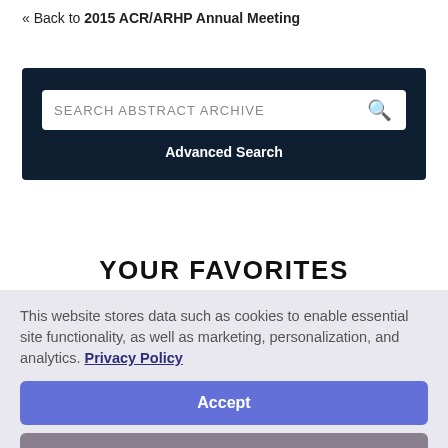« Back to 2015 ACR/ARHP Annual Meeting
[Figure (screenshot): Dark navy search bar with white search input field containing placeholder text 'SEARCH ABSTRACT ARCHIVE' and a search icon, with 'Advanced Search' link below]
YOUR FAVORITES
This website stores data such as cookies to enable essential site functionality, as well as marketing, personalization, and analytics. Privacy Policy
Accept
Deny